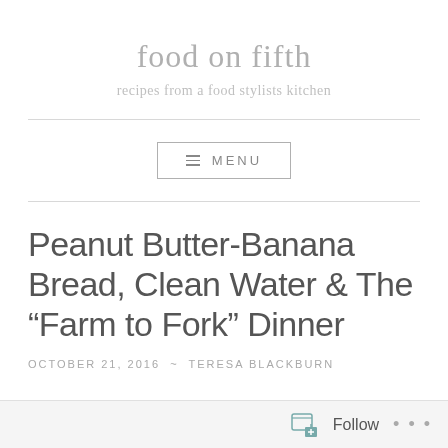food on fifth
recipes from a food stylists kitchen
≡ MENU
Peanut Butter-Banana Bread, Clean Water & The “Farm to Fork” Dinner
OCTOBER 21, 2016 ~ TERESA BLACKBURN
Follow ...